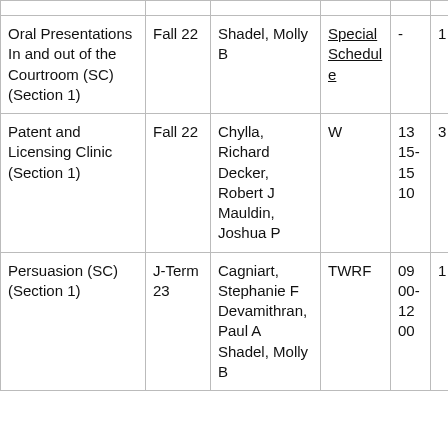| Course | Term | Instructor | Days | Time | Credits |
| --- | --- | --- | --- | --- | --- |
| Oral Presentations In and Out of the Courtroom (SC) (Section 1) | Fall 22 | Shadel, Molly B | Special Schedule | - | 1 |
| Patent and Licensing Clinic (Section 1) | Fall 22 | Chylla, Richard
Decker, Robert J
Mauldin, Joshua P | W | 1315-1510 | 3 |
| Persuasion (SC) (Section 1) | J-Term 23 | Cagniart, Stephanie F
Devamithran, Paul A
Shadel, Molly B | TWRF | 0900-1200 | 1 |